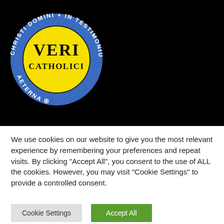[Figure (logo): Veri Catholici circular badge logo: blue ring with white Latin text 'CHRISTI DOMINI + IN TESTIMONIUM FIDEI AETERNA' around the border, yellow inner circle with black serif text 'VERI CATHOLICI']
PURCHASE ONE OF BR. BUGNOLO'S BOOKS
We use cookies on our website to give you the most relevant experience by remembering your preferences and repeat visits. By clicking "Accept All", you consent to the use of ALL the cookies. However, you may visit "Cookie Settings" to provide a controlled consent.